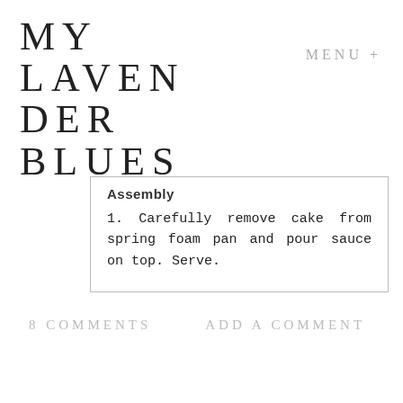MY LAVENDER BLUES
MENU +
Assembly
1. Carefully remove cake from spring foam pan and pour sauce on top. Serve.
8 COMMENTS
ADD A COMMENT